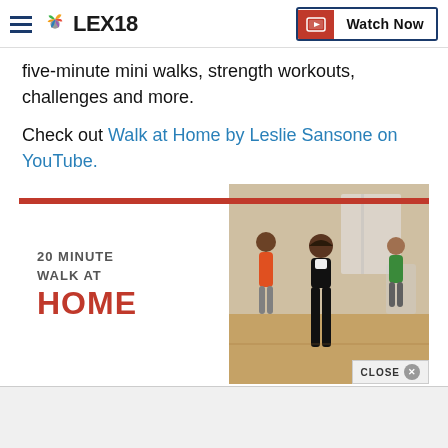LEX18 | Watch Now
five-minute mini walks, strength workouts, challenges and more.
Check out Walk at Home by Leslie Sansone on YouTube.
[Figure (screenshot): Embedded video thumbnail for '20 Minute Walk at Home' showing women exercising in a gym, with a red bar across the top, the text '20 MINUTE WALK AT HOME' on the left panel, and a CLOSE button with X in the bottom right.]